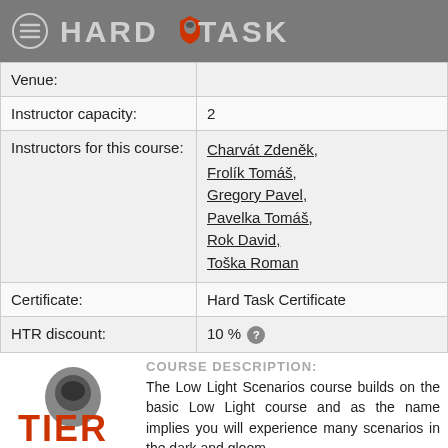HARD TASK
| Venue: |  |
| Instructor capacity: | 2 |
| Instructors for this course: | Charvát Zdeněk, Frolík Tomáš, Gregory Pavel, Pavelka Tomáš, Rok David, Toška Roman |
| Certificate: | Hard Task Certificate |
| HTR discount: | 10 % |
COURSE DESCRIPTION:
[Figure (logo): TIER II logo with stylized red and gray design and helmet icon]
The Low Light Scenarios course builds on the basic Low Light course and as the name implies you will experience many scenarios in the dark and gloom with a flashlight and FX Simunition weapons.
CONTENTS: